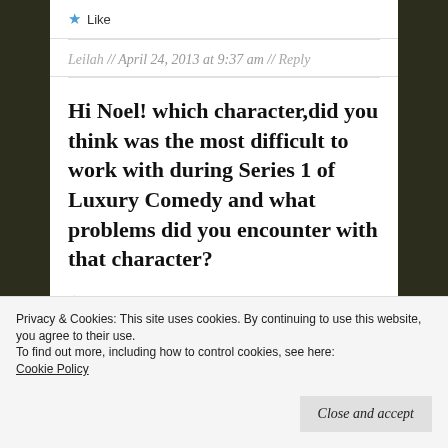★ Like
Leilah // April 24, 2013 at 9:37 am // Reply
Hi Noel! which character,did you think was the most difficult to work with during Series 1 of Luxury Comedy and what problems did you encounter with that character?
★ Like
Privacy & Cookies: This site uses cookies. By continuing to use this website, you agree to their use.
To find out more, including how to control cookies, see here:
Cookie Policy
Close and accept